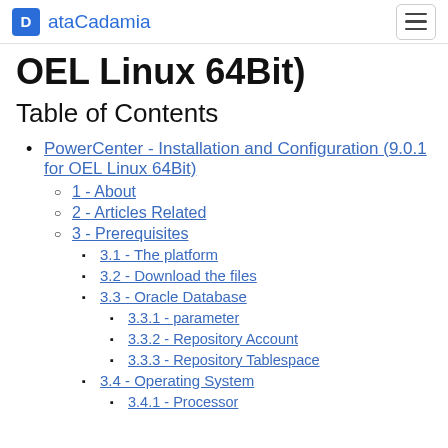ataCadamia
OEL Linux 64Bit)
Table of Contents
PowerCenter - Installation and Configuration (9.0.1 for OEL Linux 64Bit)
1 - About
2 - Articles Related
3 - Prerequisites
3.1 - The platform
3.2 - Download the files
3.3 - Oracle Database
3.3.1 - parameter
3.3.2 - Repository Account
3.3.3 - Repository Tablespace
3.4 - Operating System
3.4.1 - Processor